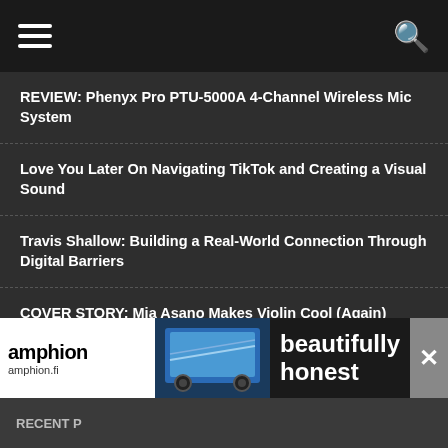Navigation header with hamburger menu and search icon
REVIEW: Phenyx Pro PTU-5000A 4-Channel Wireless Mic System
Love You Later On Navigating TikTok and Creating a Visual Sound
Travis Shallow: Building a Real-World Connection Through Digital Barriers
COVER STORY: Mia Asano Makes Violin Cool (Again)
INTERVIEW: Tom Anello aka Tom in Boston
The Myth of Fanbase Building
How Musicians Can Maintain Nutritional Health on Tour
Mojave Audio Announces MA-D Cardioid Dynamic Microphone
Are Music NFTs Dead?
[Figure (screenshot): Amphion audio advertisement banner with logo, studio monitor speakers, and tagline 'beautifully honest', amphion.fi]
RECENT P